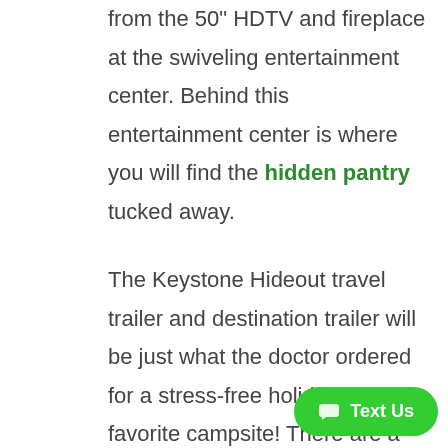from the 50" HDTV and fireplace at the swiveling entertainment center. Behind this entertainment center is where you will find the hidden pantry tucked away.
The Keystone Hideout travel trailer and destination trailer will be just what the doctor ordered for a stress-free holiday at your favorite campsite! There are a few exclusive features that you'll only find on a Keystone product, like the color-c[obscured] unified wiring, the preparations fo[obscured]